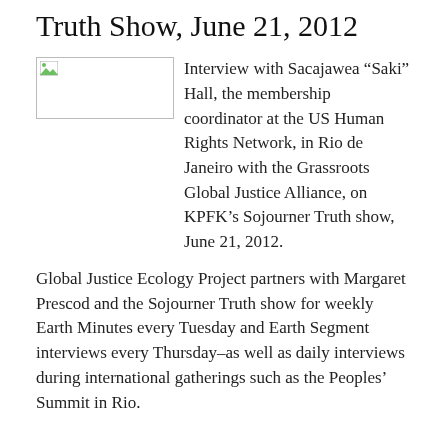Truth Show, June 21, 2012
[Figure (photo): Placeholder image (broken image icon) for Sacajawea Saki Hall]
Interview with Sacajawea “Saki” Hall, the membership coordinator at the US Human Rights Network, in Rio de Janeiro with the Grassroots Global Justice Alliance, on KPFK’s Sojourner Truth show, June 21, 2012.
Global Justice Ecology Project partners with Margaret Prescod and the Sojourner Truth show for weekly Earth Minutes every Tuesday and Earth Segment interviews every Thursday–as well as daily interviews during international gatherings such as the Peoples’ Summit in Rio.